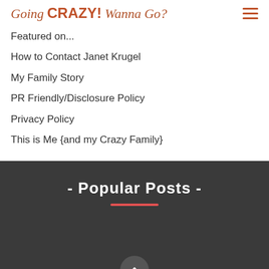Going CRAZY! Wanna Go?
Featured on...
How to Contact Janet Krugel
My Family Story
PR Friendly/Disclosure Policy
Privacy Policy
This is Me {and my Crazy Family}
- Popular Posts -